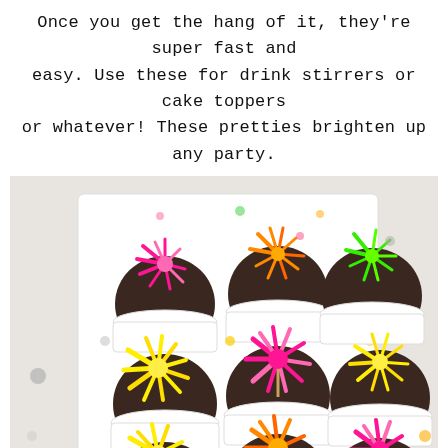Once you get the hang of it, they're super fast and easy. Use these for drink stirrers or cake toppers or whatever! These pretties brighten up any party.
[Figure (photo): Nine chocolate cupcakes in white paper cups arranged in a 3x3 grid on a white surface with colorful confetti dots. Each cupcake is topped with a colorful tissue paper flower/fringe topper: pink (top-left), orange (top-center), green (top-right), yellow (middle-left), hot pink (middle-center), yellow (middle-right), yellow (bottom-left), orange (bottom-center), hot pink (bottom-right).]